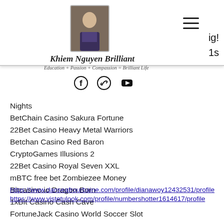[Figure (photo): Profile photo of a person in formal attire, displayed as a rectangular portrait thumbnail in the site header]
Khiem Nguyen Brilliant
Education + Passion + Compassion = Brilliant Life
[Figure (logo): Social media icons: Facebook, link/chain icon, YouTube]
Nights
BetChain Casino Sakura Fortune
22Bet Casino Heavy Metal Warriors
Betchan Casino Red Baron
CryptoGames Illusions 2
22Bet Casino Royal Seven XXL
mBTC free bet Zombiezee Money
Bitcasino.io Dragon Born
1xBit Casino Cash Cave
FortuneJack Casino World Soccer Slot
https://www.danseafrourbaine.com/profile/dianawoy12432531/profile
https://www.vistetulook.com/profile/numbershotter1614617/profile